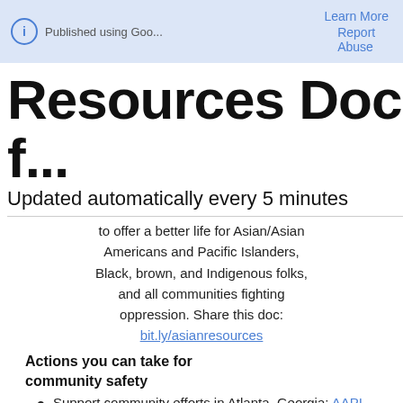Published using Goo...   Learn More   Report Abuse
Resources Doc f...
Updated automatically every 5 minutes
to offer a better life for Asian/Asian Americans and Pacific Islanders, Black, brown, and Indigenous folks, and all communities fighting oppression. Share this doc: bit.ly/asianresources
Actions you can take for community safety
Support community efforts in Atlanta, Georgia: AAPI Community Resources Offerings Form (mutual aid intake form), sign on to a community-centered response against anti-